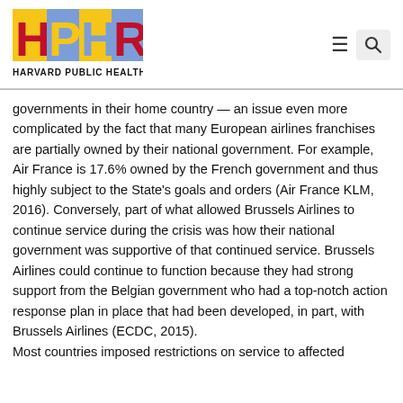HARVARD PUBLIC HEALTH REVIEW
governments in their home country — an issue even more complicated by the fact that many European airlines franchises are partially owned by their national government. For example, Air France is 17.6% owned by the French government and thus highly subject to the State's goals and orders (Air France KLM, 2016). Conversely, part of what allowed Brussels Airlines to continue service during the crisis was how their national government was supportive of that continued service. Brussels Airlines could continue to function because they had strong support from the Belgian government who had a top-notch action response plan in place that had been developed, in part, with Brussels Airlines (ECDC, 2015). Most countries imposed restrictions on service to affected